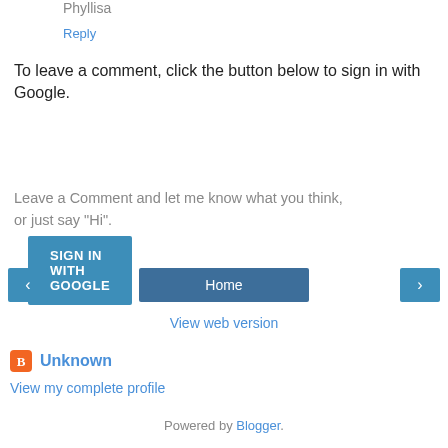Phyllisa
Reply
To leave a comment, click the button below to sign in with Google.
SIGN IN WITH GOOGLE
Leave a Comment and let me know what you think, or just say "Hi".
‹
Home
›
View web version
Unknown
View my complete profile
Powered by Blogger.